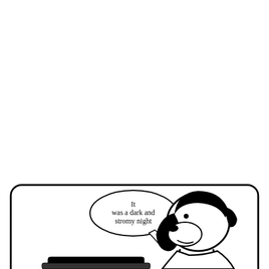[Figure (illustration): Partial comic panel showing Snoopy (a cartoon dog from Peanuts) lying on top of something and typing, with a speech bubble reading 'It was a dark and stromy night'. The panel has a rounded rectangle border and is cropped at the bottom of the page. The top portion of the page is blank white.]